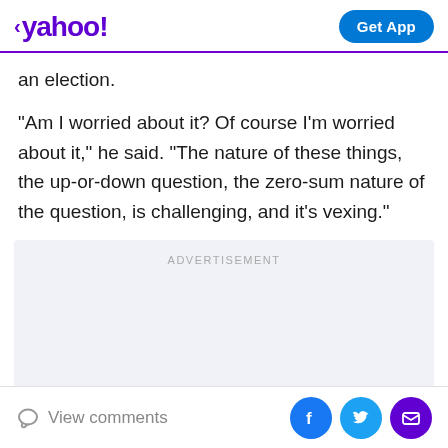< yahoo!  Get App
an election.
"Am I worried about it? Of course I'm worried about it," he said. "The nature of these things, the up-or-down question, the zero-sum nature of the question, is challenging, and it's vexing."
ADVERTISEMENT
View comments